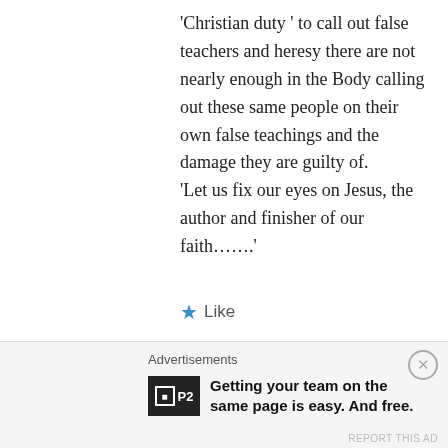'Christian duty ' to call out false teachers and heresy there are not nearly enough in the Body calling out these same people on their own false teachings and the damage they are guilty of. 'Let us fix our eyes on Jesus, the author and finisher of our faith…….'
★ Like
↳ Reply
Pingback: Injustice Ignored: an Open Letter to The Gospel Coalition – Sparking Conversation
Advertisements
Getting your team on the same page is easy. And free.